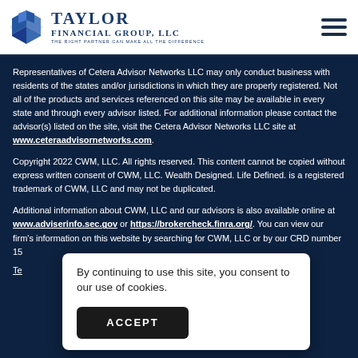[Figure (logo): Taylor Financial Group, LLC logo with blue geometric diamond/shield icon and serif text]
Representatives of Cetera Advisor Networks LLC may only conduct business with residents of the states and/or jurisdictions in which they are properly registered. Not all of the products and services referenced on this site may be available in every state and through every advisor listed. For additional information please contact the advisor(s) listed on the site, visit the Cetera Advisor Networks LLC site at www.ceteraadvisornetworks.com.
Copyright 2022 CWM, LLC. All rights reserved. This content cannot be copied without express written consent of CWM, LLC. Wealth Designed. Life Defined. is a registered trademark of CWM, LLC and may not be duplicated.
Additional information about CWM, LLC and our advisors is also available online at www.adviserinfo.sec.gov or https://brokercheck.finra.org/. You can view our firm's information on this website by searching for CWM, LLC or by our CRD number 15...
Te...
By continuing to use this site, you consent to our use of cookies.
ACCEPT